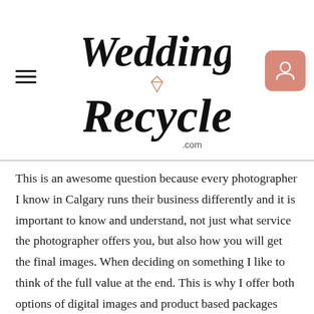An important question to ask your wedding photographer is what finished product will get after my wedding?
[Figure (logo): Wedding Recycle .com logo in decorative script font with diamond icon]
This is an awesome question because every photographer I know in Calgary runs their business differently and it is important to know and understand, not just what service the photographer offers you, but also how you will get the final images. When deciding on something I like to think of the full value at the end. This is why I offer both options of digital images and product based packages within my Calgary wedding photography packages. Therefore, in order to figure out the best wedding photographer and the best wedding photography package for you, I have put together